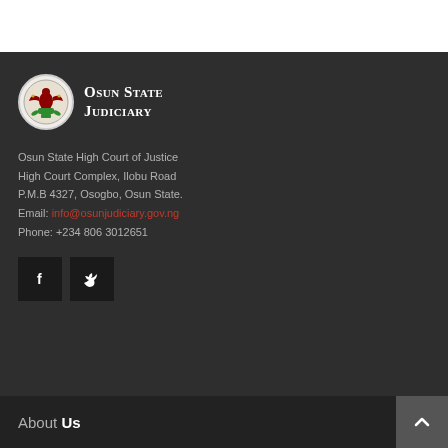[Figure (logo): Osun State Judiciary logo — circular emblem with coat of arms, beside text 'Osun State Judiciary']
Osun State High Court of Justice
High Court Complex, Ilobu Road
P.M.B 4327, Osogbo, Osun State.
Email: info@osunjudiciary.gov.ng
Phone: +234 806 3012651
[Figure (illustration): Social media icons: Facebook (f) and Twitter (bird) buttons]
About Us